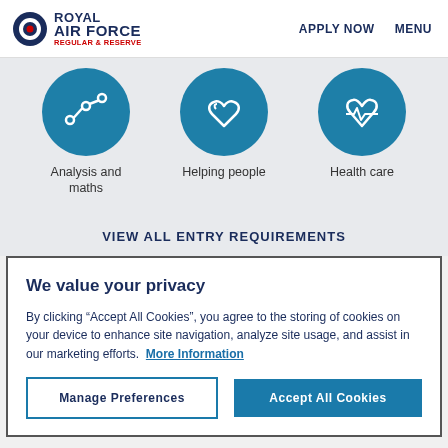ROYAL AIR FORCE REGULAR & RESERVE | APPLY NOW | MENU
[Figure (illustration): Three teal circular icons: Analysis and maths (line graph/nodes), Helping people (handshake), Health care (heart with ECG line)]
Analysis and maths   Helping people   Health care
VIEW ALL ENTRY REQUIREMENTS
We value your privacy
By clicking "Accept All Cookies", you agree to the storing of cookies on your device to enhance site navigation, analyze site usage, and assist in our marketing efforts.  More Information
Manage Preferences   Accept All Cookies